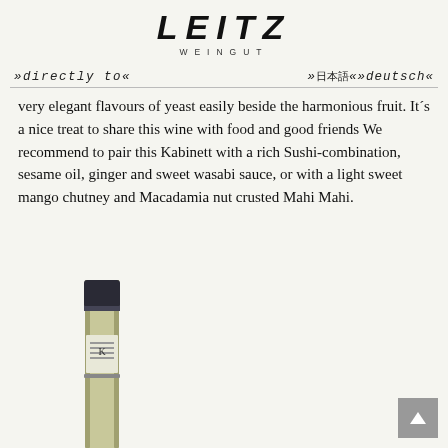LEITZ WEINGUT
»directly to«
»日本語«»deutsch«
very elegant flavours of yeast easily beside the harmonious fruit. It´s a nice treat to share this wine with food and good friends We recommend to pair this Kabinett with a rich Sushi-combination, sesame oil, ginger and sweet wasabi sauce, or with a light sweet mango chutney and Macadamia nut crusted Mahi Mahi.
[Figure (photo): Partial view of a wine bottle showing the neck and upper body with a dark cap and label, against a light background.]